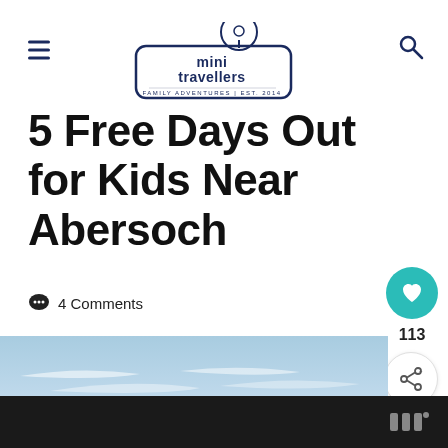[Figure (logo): Mini Travellers logo — rounded rectangle badge with 'mini travellers' text, 'family adventures' and 'EST. 2014' text, with a map pin icon above]
5 Free Days Out for Kids Near Abersoch
4 Comments
[Figure (photo): Coastal landscape near Abersoch showing blue sky with wispy clouds and sandy cliffs/beach at bottom]
WHAT'S NEXT → Ideas for Days Out with the...